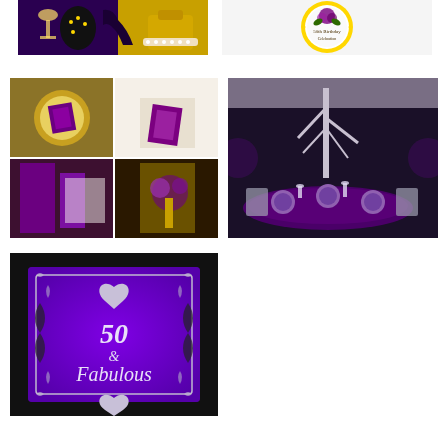[Figure (photo): Purple and gold birthday party setup with champagne flutes, high heels, and pearl accessories on black and gold background]
[Figure (photo): Circular birthday plate/cake topper with purple rose and gold decorative border reading 50th Birthday Celebration]
[Figure (photo): Collage of four images showing purple and gold table settings with napkin folds and floral centerpieces]
[Figure (photo): Banquet hall with round tables set with purple satin tablecloths, silver chairs, crystal glassware, and white tree centerpieces]
[Figure (photo): Purple and black damask design invitation card reading '50 & Fabulous' in silver script with decorative silver heart and floral border]